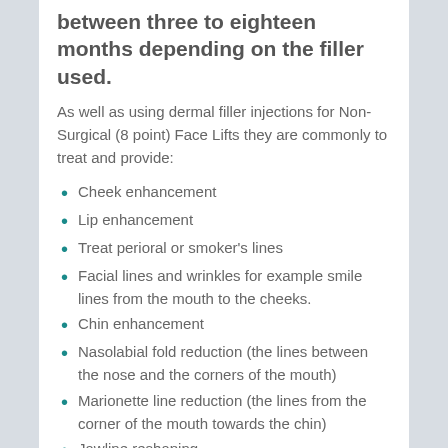between three to eighteen months depending on the filler used.
As well as using dermal filler injections for Non-Surgical (8 point) Face Lifts they are commonly to treat and provide:
Cheek enhancement
Lip enhancement
Treat perioral or smoker's lines
Facial lines and wrinkles for example smile lines from the mouth to the cheeks.
Chin enhancement
Nasolabial fold reduction (the lines between the nose and the corners of the mouth)
Marionette line reduction (the lines from the corner of the mouth towards the chin)
Jawline reshaping
Loss of volume in the temple area